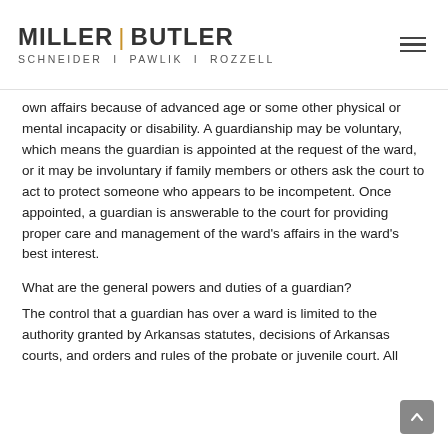MILLER | BUTLER SCHNEIDER | PAWLIK | ROZZELL
own affairs because of advanced age or some other physical or mental incapacity or disability. A guardianship may be voluntary, which means the guardian is appointed at the request of the ward, or it may be involuntary if family members or others ask the court to act to protect someone who appears to be incompetent. Once appointed, a guardian is answerable to the court for providing proper care and management of the ward's affairs in the ward's best interest.
What are the general powers and duties of a guardian?
The control that a guardian has over a ward is limited to the authority granted by Arkansas statutes, decisions of Arkansas courts, and orders and rules of the probate or juvenile court. All